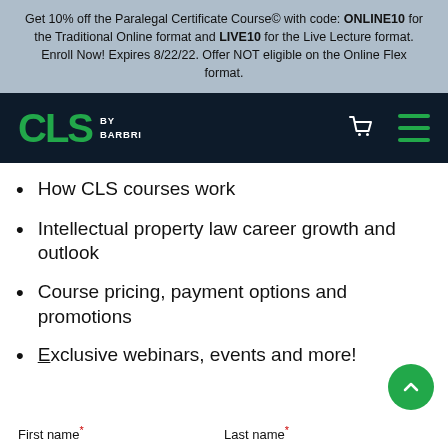Get 10% off the Paralegal Certificate Course© with code: ONLINE10 for the Traditional Online format and LIVE10 for the Live Lecture format. Enroll Now! Expires 8/22/22. Offer NOT eligible on the Online Flex format.
[Figure (logo): CLS by BARBRI logo in green on dark navy background with shopping cart and hamburger menu icons]
How CLS courses work
Intellectual property law career growth and outlook
Course pricing, payment options and promotions
Exclusive webinars, events and more!
First name* Last name*